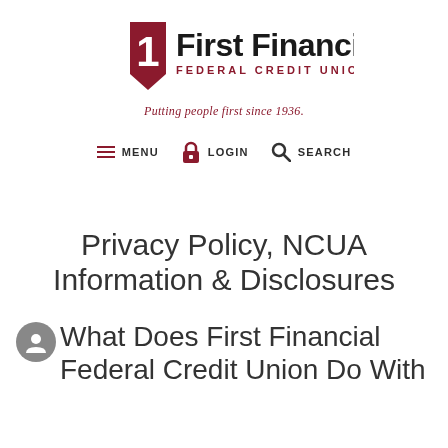[Figure (logo): First Financial Federal Credit Union logo with a red shield containing the number 1 and bold black text]
Putting people first since 1936.
MENU  LOGIN  SEARCH
Privacy Policy, NCUA Information & Disclosures
What Does First Financial Federal Credit Union Do With